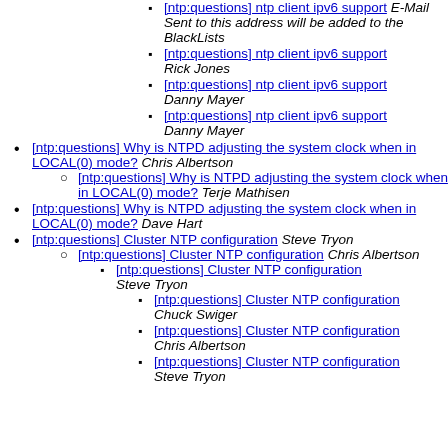[ntp:questions] ntp client ipv6 support  E-Mail Sent to this address will be added to the BlackLists
[ntp:questions] ntp client ipv6 support  Rick Jones
[ntp:questions] ntp client ipv6 support  Danny Mayer
[ntp:questions] ntp client ipv6 support  Danny Mayer
[ntp:questions] Why is NTPD adjusting the system clock when in LOCAL(0) mode?  Chris Albertson
[ntp:questions] Why is NTPD adjusting the system clock when in LOCAL(0) mode?  Terje Mathisen
[ntp:questions] Why is NTPD adjusting the system clock when in LOCAL(0) mode?  Dave Hart
[ntp:questions] Cluster NTP configuration  Steve Tryon
[ntp:questions] Cluster NTP configuration  Chris Albertson
[ntp:questions] Cluster NTP configuration  Steve Tryon
[ntp:questions] Cluster NTP configuration  Chuck Swiger
[ntp:questions] Cluster NTP configuration  Chris Albertson
[ntp:questions] Cluster NTP configuration  Steve Tryon